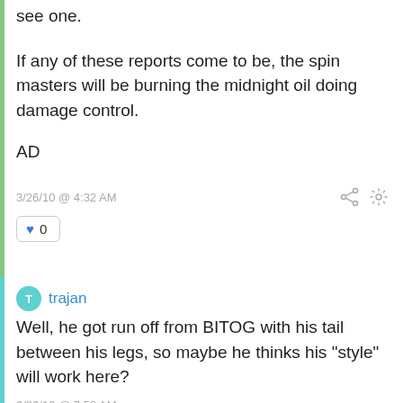see one.
If any of these reports come to be, the spin masters will be burning the midnight oil doing damage control.
AD
3/26/10 @ 4:32 AM
♥ 0
trajan
Well, he got run off from BITOG with his tail between his legs, so maybe he thinks his "style" will work here?
3/26/10 @ 7:52 AM